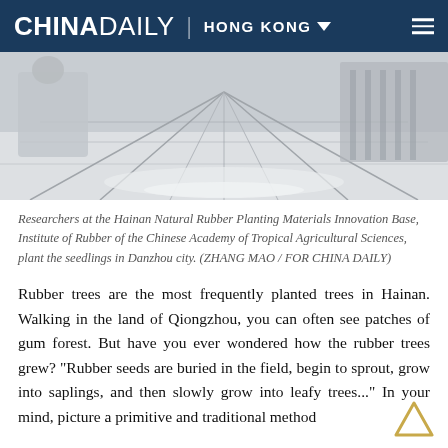CHINA DAILY | HONG KONG
[Figure (photo): Researchers in a greenhouse or lab facility with long rows of equipment/plants receding into the distance in perspective]
Researchers at the Hainan Natural Rubber Planting Materials Innovation Base, Institute of Rubber of the Chinese Academy of Tropical Agricultural Sciences, plant the seedlings in Danzhou city. (ZHANG MAO / FOR CHINA DAILY)
Rubber trees are the most frequently planted trees in Hainan. Walking in the land of Qiongzhou, you can often see patches of gum forest. But have you ever wondered how the rubber trees grew? "Rubber seeds are buried in the field, begin to sprout, grow into saplings, and then slowly grow into leafy trees..." In your mind, picture a primitive and traditional method